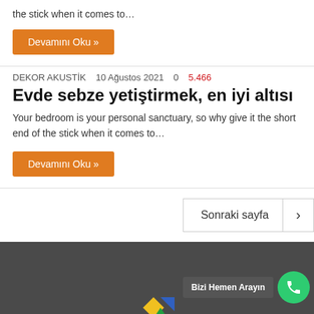the stick when it comes to…
Devamını Oku »
DEKOR AKUSTİK   10 Ağustos 2021   0   5.466
Evde sebze yetiştirmek, en iyi altısı
Your bedroom is your personal sanctuary, so why give it the short end of the stick when it comes to…
Devamını Oku »
Sonraki sayfa
Bizi Hemen Arayın